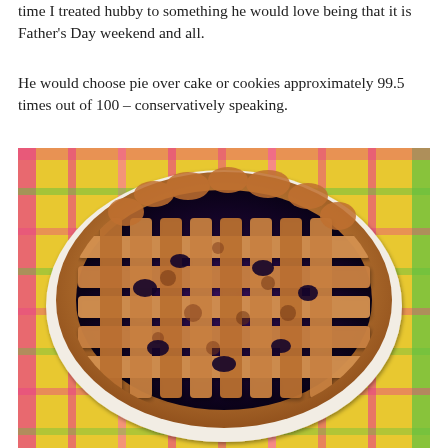time I treated hubby to something he would love being that it is Father's Day weekend and all.
He would choose pie over cake or cookies approximately 99.5 times out of 100 – conservatively speaking.
[Figure (photo): A homemade blueberry lattice-top pie in a white pie plate, set on a colorful woven placemat with yellow, pink, and green pattern. The lattice crust is golden-brown and dusted with sugar, with dark blueberry filling visible between the strips.]